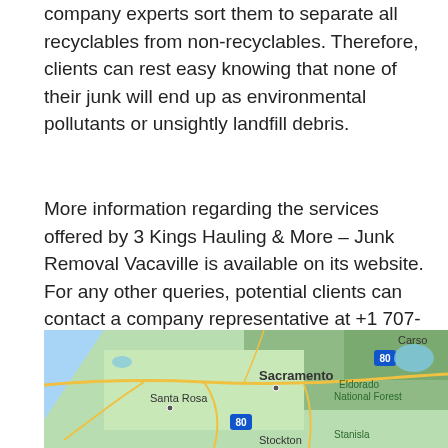company experts sort them to separate all recyclables from non-recyclables. Therefore, clients can rest easy knowing that none of their junk will end up as environmental pollutants or unsightly landfill debris.
More information regarding the services offered by 3 Kings Hauling & More – Junk Removal Vacaville is available on its website. For any other queries, potential clients can contact a company representative at +1 707-416-5643. The company is located at 661 Cordelia Circle, Vacaville, California, 95687, US.
[Figure (map): Google Map showing Northern California region including Sacramento, Santa Rosa, Stockton, Eldorado National Forest, Stanislaus National Forest, with highway 80 marked.]